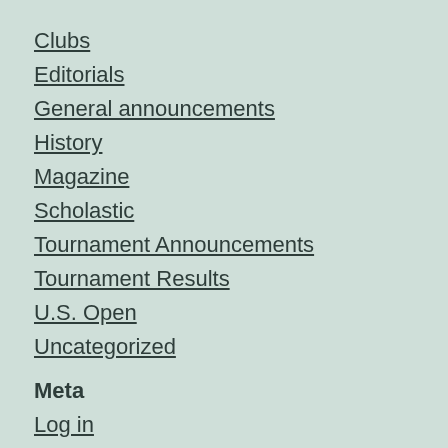Clubs
Editorials
General announcements
History
Magazine
Scholastic
Tournament Announcements
Tournament Results
U.S. Open
Uncategorized
Meta
Log in